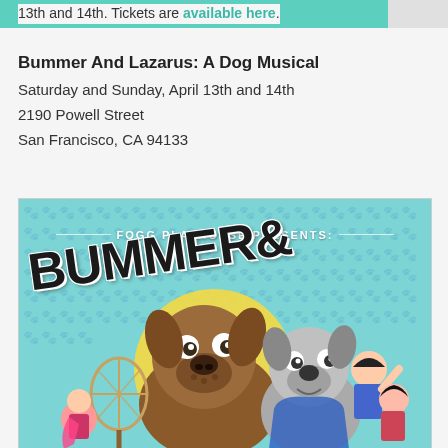13th and 14th. Tickets are available here.
Bummer And Lazarus: A Dog Musical
Saturday and Sunday, April 13th and 14th
2190 Powell Street
San Francisco, CA 94133
[Figure (illustration): Cartoon promotional poster for 'Bummer And Lazarus: A Dog Musical' by Fogg Playhouse Presents. Features cartoon dogs and characters on a teal/turquoise background with the word BUMMER& in large bold letters.]